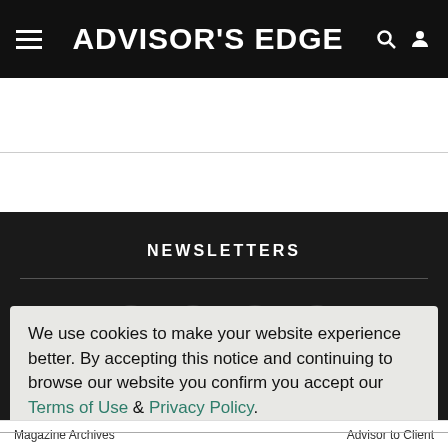ADVISOR'S EDGE
NEWSLETTERS
[Figure (infographic): Social media icons: Facebook, LinkedIn, Twitter, RSS feed displayed as white icons on dark circular backgrounds]
We use cookies to make your website experience better. By accepting this notice and continuing to browse our website you confirm you accept our Terms of Use & Privacy Policy.
read more >>
I Agree
Magazine Archives   Advisor to Client